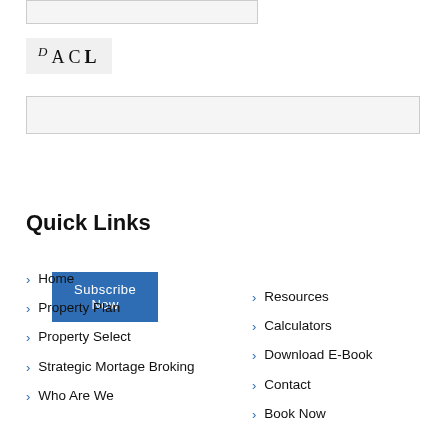[Figure (logo): DACL logo text in serif font with small superscript D]
Email input field
Subscribe Now
Quick Links
Home
Property Plan
Property Select
Strategic Mortage Broking
Who Are We
Resources
Calculators
Download E-Book
Contact
Book Now